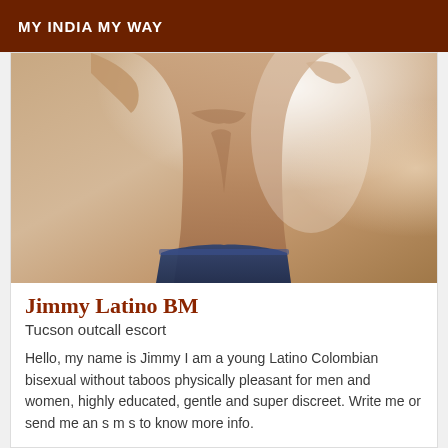MY INDIA MY WAY
[Figure (photo): Torso photo of a shirtless man with athletic build, blurred/cropped lifestyle photo]
Jimmy Latino BM
Tucson outcall escort
Hello, my name is Jimmy I am a young Latino Colombian bisexual without taboos physically pleasant for men and women, highly educated, gentle and super discreet. Write me or send me an s m s to know more info.
[Figure (photo): Partial view of a second listing card with a 'Verified' badge and a photo of a person outdoors with greenery]